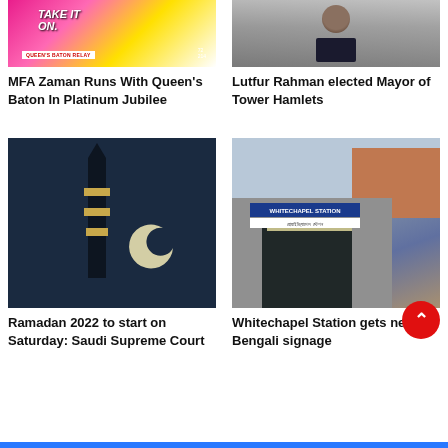[Figure (photo): Person holding a Queen's Baton Relay banner with colorful Take It On branding]
MFA Zaman Runs With Queen's Baton In Platinum Jubilee
[Figure (photo): Lutfur Rahman smiling in a suit and blue tie]
Lutfur Rahman elected Mayor of Tower Hamlets
[Figure (photo): A crescent moon visible in a dark night sky with a minaret silhouette]
Ramadan 2022 to start on Saturday: Saudi Supreme Court
[Figure (photo): Whitechapel Station entrance with bilingual English and Bengali signage]
Whitechapel Station gets new Bengali signage